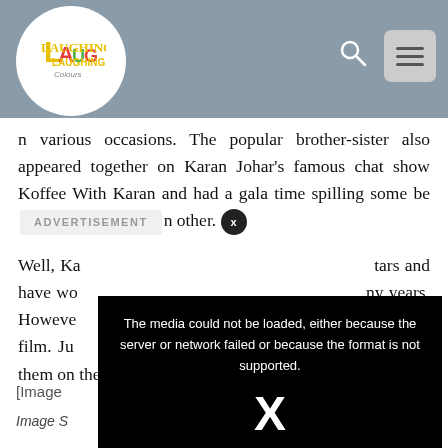[Figure (logo): Laughing Colours logo in white circle on grey header bar]
n various occasions. The popular brother-sister also appeared together on Karan Johar's famous chat show Koffee With Karan and had a gala time spilling some beans about each other.
Well, Kareena and Ranbir are two of the biggest stars and have worked with so many directors over the many years. However, they have surprisingly never come together in a film. Just imagine how much the fans would love to see them on the big screen together!
[Figure (screenshot): Black video error overlay: The media could not be loaded, either because the server or network failed or because the format is not supported. Large X symbol below.]
Image Source: poor
Image Source:
Kareena Kapoor Khan and Ranbir Kapoor talk about